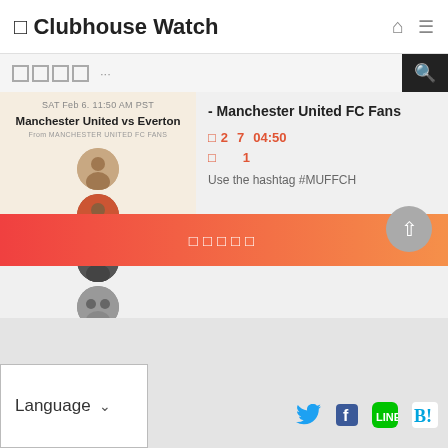🏠 Clubhouse Watch
□□□□ ...
[Figure (screenshot): Card showing Manchester United vs Everton room with date SAT Feb 6, 11:50 AM PST, From MANCHESTER UNITED FC FANS, and 5 user avatars stacked]
- Manchester United FC Fans
□ 2  7  04:50
□       1
Use the hashtag #MUFFCH
□□□□□
Language  ▾   [Twitter] [Facebook] [LINE] [Hatena B!]